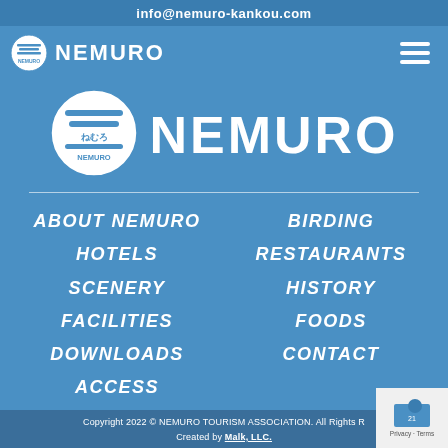info@nemuro-kankou.com
[Figure (logo): NEMURO logo with circular emblem in navigation bar]
[Figure (logo): Large NEMURO logo with circular emblem in center]
ABOUT NEMURO
BIRDING
HOTELS
RESTAURANTS
SCENERY
HISTORY
FACILITIES
FOODS
DOWNLOADS
CONTACT
ACCESS
Copyright 2022 © NEMURO TOURISM ASSOCIATION. All Rights Reserved. Created by Malk, LLC.